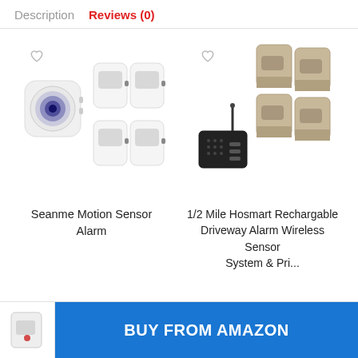Description   Reviews (0)
[Figure (photo): Seanme Motion Sensor Alarm product photo showing a white alarm hub with blue ring and four white PIR motion sensors]
Seanme Motion Sensor Alarm
[Figure (photo): 1/2 Mile Hosmart Rechargable Driveway Alarm Wireless Sensor System product photo showing a black wireless receiver/hub with antenna and four tan/beige outdoor PIR sensor units]
1/2 Mile Hosmart Rechargable Driveway Alarm Wireless Sensor System & Pri...
[Figure (photo): Small PIR motion sensor thumbnail image in bottom left corner]
BUY FROM AMAZON